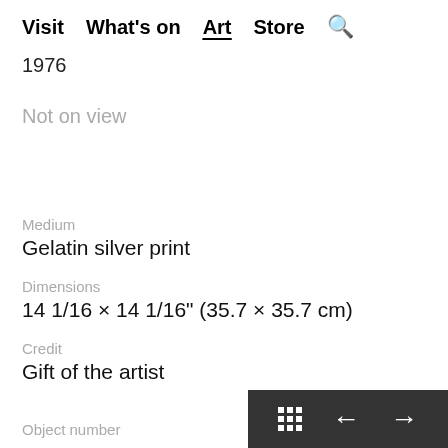Visit  What's on  Art  Store  🔍
1976
Not on view
Medium
Gelatin silver print
Dimensions
14 1/16 × 14 1/16" (35.7 × 35.7 cm)
Credit
Gift of the artist
Object number